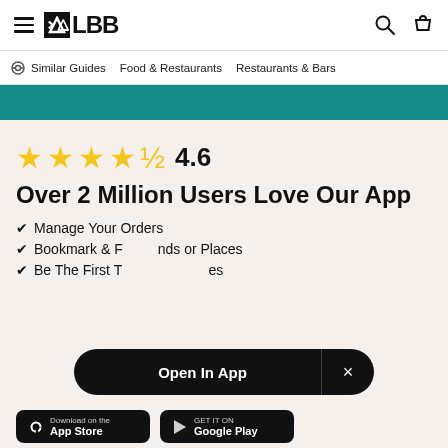LBB - hamburger menu, search, bag icons
Similar Guides   Food & Restaurants   Restaurants & Bars
[Figure (other): Teal/dark cyan colored banner bar]
[Figure (other): 4.6 star rating with 4 full gold stars and 1 half gold star]
Over 2 Million Users Love Our App
Manage Your Orders
Bookmark & F... nds or Places
Be The First T... es
[Figure (other): Open In App popup banner with X close button]
Download on the ... GET IT ON ...